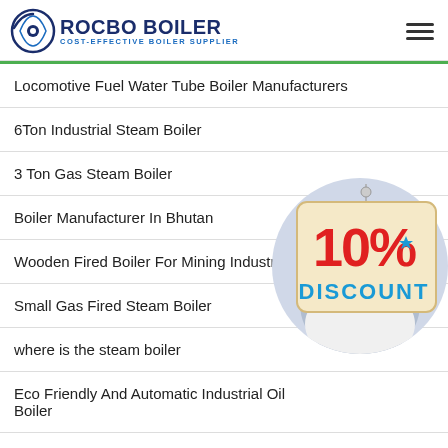ROCBO BOILER COST-EFFECTIVE BOILER SUPPLIER
Locomotive Fuel Water Tube Boiler Manufacturers
6Ton Industrial Steam Boiler
3 Ton Gas Steam Boiler
Boiler Manufacturer In Bhutan
Wooden Fired Boiler For Mining Industry
Small Gas Fired Steam Boiler
where is the steam boiler
Eco Friendly And Automatic Industrial Oil Boiler
[Figure (infographic): 10% DISCOUNT sign hanging badge and customer service representative with headset photo overlaying the navigation list]